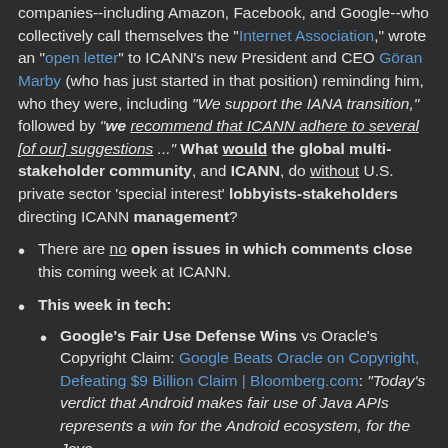companies--including Amazon, Facebook, and Google--who collectively call themselves the "Internet Association," wrote an "open letter" to ICANN's new President and CEO Göran Marby (who has just started in that position) reminding him, who they were, including "We support the IANA transition," followed by "we recommend that ICANN adhere to several [of our] suggestions ..." What would the global multi-stakeholder community, and ICANN, do without U.S. private sector 'special interest' lobbyists-stakeholders directing ICANN management?
There are no open issues in which comments close this coming week at ICANN.
This week in tech:
Google's Fair Use Defense Wins vs Oracle's Copyright Claim: Google Beats Oracle on Copyright, Defeating $9 Billion Claim | Bloomberg.com: "Today's verdict that Android makes fair use of Java APIs represents a win for the Android ecosystem, for the Java